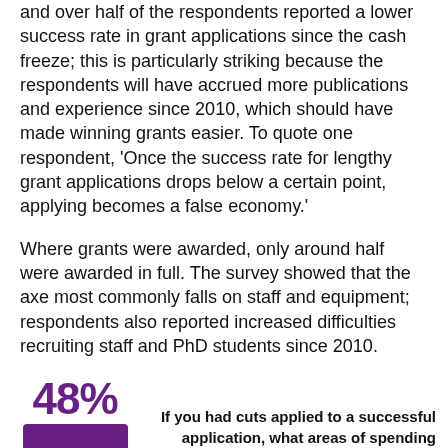and over half of the respondents reported a lower success rate in grant applications since the cash freeze; this is particularly striking because the respondents will have accrued more publications and experience since 2010, which should have made winning grants easier. To quote one respondent, 'Once the success rate for lengthy grant applications drops below a certain point, applying becomes a false economy.'
Where grants were awarded, only around half were awarded in full. The survey showed that the axe most commonly falls on staff and equipment; respondents also reported increased difficulties recruiting staff and PhD students since 2010.
[Figure (infographic): A purple bar graphic showing 48% statistic with question: 'If you had cuts applied to a successful application, what areas of spending were affected?']